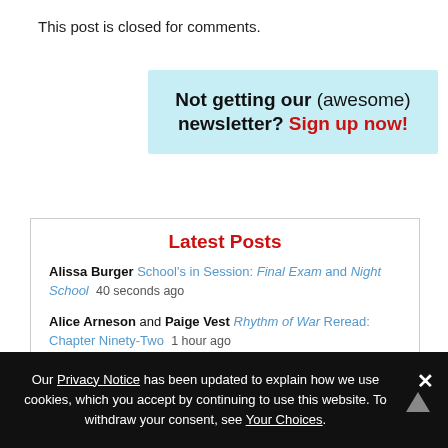This post is closed for comments.
[Figure (infographic): Light blue newsletter signup banner: 'Not getting our (awesome) newsletter? Sign up now!']
Latest Posts
Alissa Burger School's in Session: Final Exam and Night School 40 seconds ago
Alice Arneson and Paige Vest Rhythm of War Reread: Chapter Ninety-Two 1 hour ago
Tor.com A Bloody Love Letter to L.A.: Revealing Maeve Fly by CJ Leede 2 hours ago
Our Privacy Notice has been updated to explain how we use cookies, which you accept by continuing to use this website. To withdraw your consent, see Your Choices.